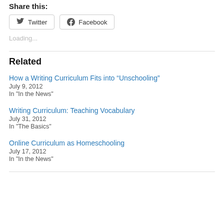Share this:
[Figure (other): Twitter and Facebook share buttons]
Loading...
Related
How a Writing Curriculum Fits into “Unschooling”
July 9, 2012
In "In the News"
Writing Curriculum: Teaching Vocabulary
July 31, 2012
In "The Basics"
Online Curriculum as Homeschooling
July 17, 2012
In "In the News"